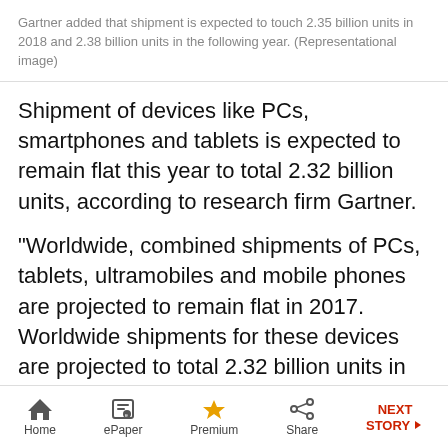Gartner added that shipment is expected to touch 2.35 billion units in 2018 and 2.38 billion units in the following year. (Representational image)
Shipment of devices like PCs, smartphones and tablets is expected to remain flat this year to total 2.32 billion units, according to research firm Gartner.
“Worldwide, combined shipments of PCs, tablets, ultramobiles and mobile phones are projected to remain flat in 2017. Worldwide shipments for these devices are projected to total 2.32 billion units in 2017, the same as 2016 estimates,” it said
Home | ePaper | Premium | Share | NEXT STORY